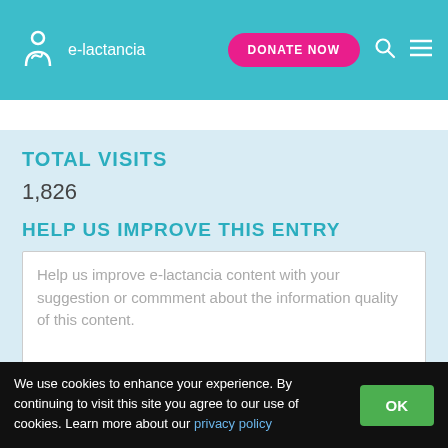e-lactancia | DONATE NOW
TOTAL VISITS
1,826
HELP US IMPROVE THIS ENTRY
Help us improve e-lactancia content with your suggestion or commment about the information quality of this content.
We use cookies to enhance your experience. By continuing to visit this site you agree to our use of cookies. Learn more about our privacy policy